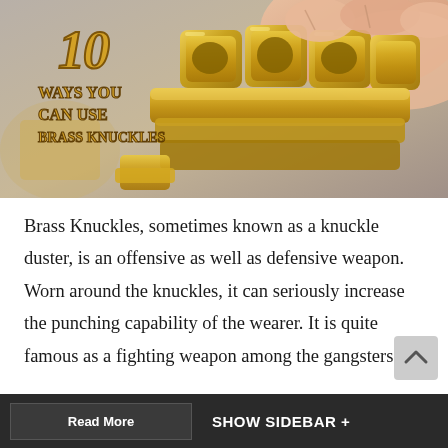[Figure (photo): Close-up photo of a brass knuckle duster being held in a hand. Overlaid text reads '10 WAYS YOU CAN USE BRASS KNUCKLES' in decorative gold/yellow font.]
Brass Knuckles, sometimes known as a knuckle duster, is an offensive as well as defensive weapon. Worn around the knuckles, it can seriously increase the punching capability of the wearer. It is quite famous as a fighting weapon among the gangsters....
Read More   SHOW SIDEBAR +